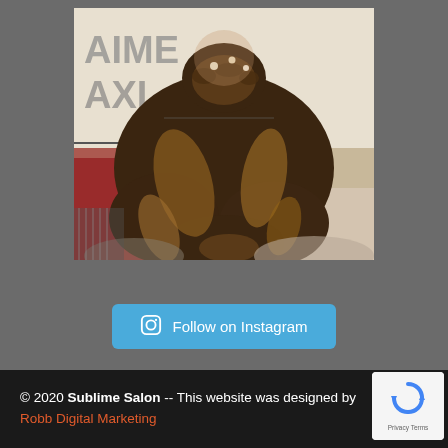[Figure (photo): Back view of a woman with long curly brown hair styled with braids and decorative pins/accessories, posed in front of a background with partial text visible.]
Follow on Instagram
© 2020 Sublime Salon -- This website was designed by Robb Digital Marketing